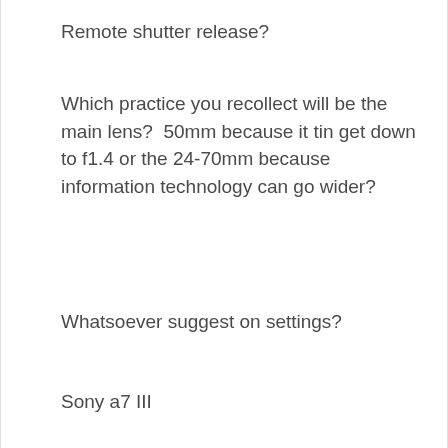Remote shutter release?
Which practice you recollect will be the main lens?  50mm because it tin get down to f1.4 or the 24-70mm because information technology can go wider?
Whatsoever suggest on settings?
Sony a7 III
Nikon AF-S Nikkor 24-70mm f/ii.8G ED